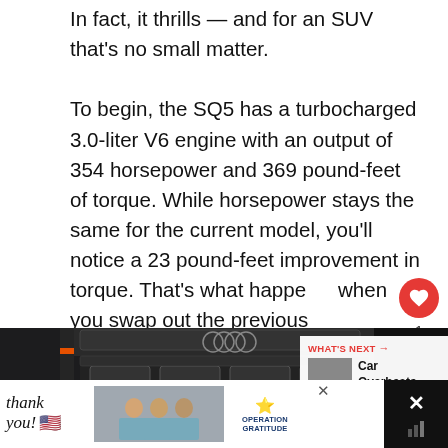In fact, it thrills — and for an SUV that's no small matter.
To begin, the SQ5 has a turbocharged 3.0-liter V6 engine with an output of 354 horsepower and 369 pound-feet of torque. While horsepower stays the same for the current model, you'll notice a 23 pound-feet improvement in torque. That's what happens when you swap out the previous supercharger for a turbocharger.
[Figure (photo): Engine bay of an Audi SQ5 showing V6 engine with orange accents and carbon fiber elements, partially obscured by a 'What's Next' overlay and advertisements]
WHAT'S NEXT → Car Overheats When AC is...
[Figure (photo): Advertisement banner: 'Thank you!' with American flag graphic, photo of medical workers, and Operation Gratitude logo]